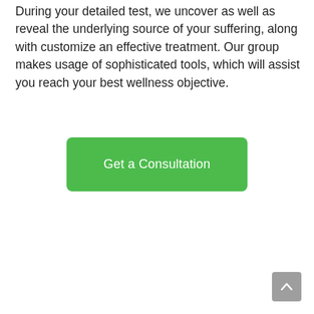During your detailed test, we uncover as well as reveal the underlying source of your suffering, along with customize an effective treatment. Our group makes usage of sophisticated tools, which will assist you reach your best wellness objective.
[Figure (other): Green rounded rectangle button with white text reading 'Get a Consultation']
[Figure (other): Gray scroll-to-top button with upward chevron arrow in the bottom-right corner]